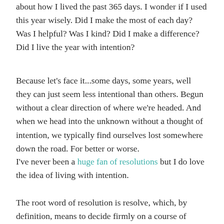about how I lived the past 365 days. I wonder if I used this year wisely. Did I make the most of each day? Was I helpful? Was I kind? Did I make a difference? Did I live the year with intention?
Because let's face it...some days, some years, well they can just seem less intentional than others. Begun without a clear direction of where we're headed. And when we head into the unknown without a thought of intention, we typically find ourselves lost somewhere down the road. For better or worse.
I've never been a huge fan of resolutions but I do love the idea of living with intention.
The root word of resolution is resolve, which, by definition, means to decide firmly on a course of action. On the other